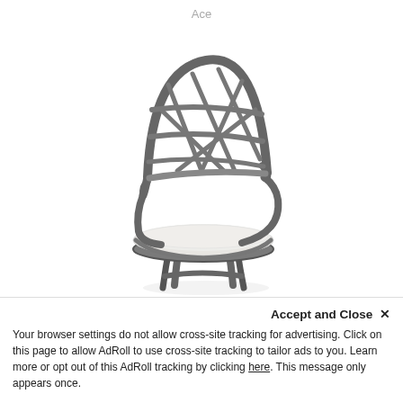Ace
[Figure (photo): A metal bar stool or accent chair with a decorative lattice/criss-cross back, curved arms, and a white/light grey upholstered seat cushion. The frame is dark gunmetal/charcoal colored metal. The chair is shown on a white background at a slight angle.]
Accept and Close ×
Your browser settings do not allow cross-site tracking for advertising. Click on this page to allow AdRoll to use cross-site tracking to tailor ads to you. Learn more or opt out of this AdRoll tracking by clicking here. This message only appears once.